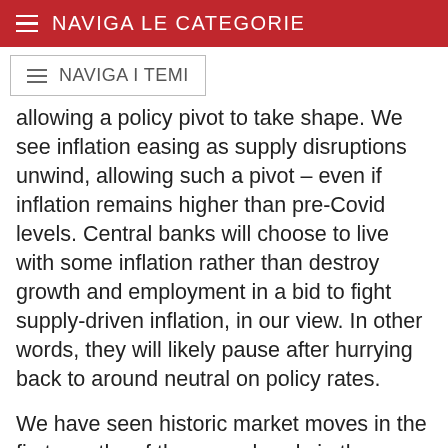NAVIGA LE CATEGORIE
NAVIGA I TEMI
allowing a policy pivot to take shape. We see inflation easing as supply disruptions unwind, allowing such a pivot – even if inflation remains higher than pre-Covid levels. Central banks will choose to live with some inflation rather than destroy growth and employment in a bid to fight supply-driven inflation, in our view. In other words, they will likely pause after hurrying back to around neutral on policy rates.
We have seen historic market moves in the first months of the year already in the